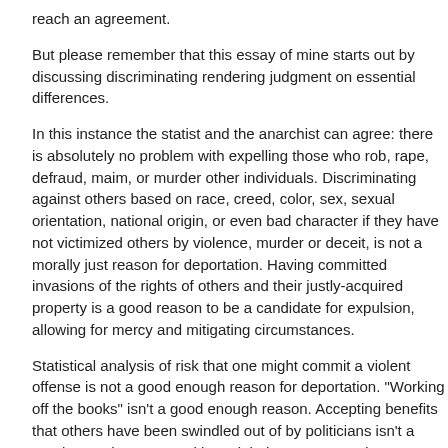reach an agreement.
But please remember that this essay of mine starts out by discussing discriminating rendering judgment on essential differences.
In this instance the statist and the anarchist can agree: there is absolutely no problem with expelling those who rob, rape, defraud, maim, or murder other individuals. Discriminating against others based on race, creed, color, sex, sexual orientation, national origin, or even bad character if they have not victimized others by violence, murder or deceit, is not a morally just reason for deportation. Having committed invasions of the rights of others and their justly-acquired property is a good reason to be a candidate for expulsion, allowing for mercy and mitigating circumstances.
Statistical analysis of risk that one might commit a violent offense is not a good enough reason for deportation. "Working off the books" isn't a good enough reason. Accepting benefits that others have been swindled out of by politicians isn't a good enough reason. Taking a job that someone else wants isn't a good enough reason.
Murder is a good enough reason, assuming a response more severe than deportation is called for. Planning criminal invasions of other people's peaceful celebrations is a good enough reason.
Being an anarchist it would be neglectful of me not to make what Fox News would call "moral equivalences." Yes, the operator of a drone who kills innocent bystanders while eliminating terrorists may not be guilty of murder. But this anarchist might ho